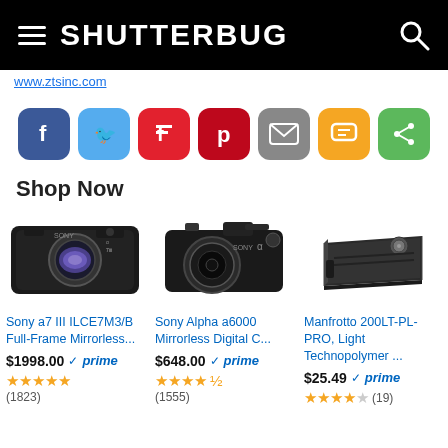SHUTTERBUG
www.ztsinc.com
[Figure (infographic): Social sharing buttons: Facebook (blue), Twitter (light blue), Flipboard (red), Pinterest (dark red), Email (gray), SMS (orange/yellow), Share (green)]
Shop Now
[Figure (photo): Sony a7 III ILCE7M3/B Full-Frame Mirrorless camera body, black, sensor visible]
Sony a7 III ILCE7M3/B Full-Frame Mirrorless...
$1998.00 prime (1823 reviews, 5 stars)
[Figure (photo): Sony Alpha a6000 Mirrorless Digital Camera with lens attached, black]
Sony Alpha a6000 Mirrorless Digital C...
$648.00 prime (1555 reviews, 4.5 stars)
[Figure (photo): Manfrotto 200LT-PL-PRO quick release plate, black metal]
Manfrotto 200LT-PL-PRO, Light Technopolymer ...
$25.49 prime (19 reviews, 4 stars)